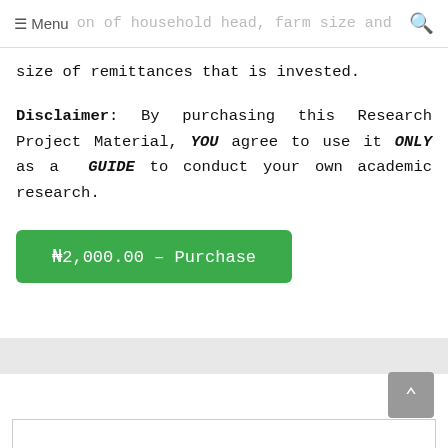Menu | Search
heads belonged to, the age and the level of education of household head, farm size and size of remittances that is invested.
Disclaimer: By purchasing this Research Project Material, YOU agree to use it ONLY as a GUIDE to conduct your own academic research.
₦2,000.00 – Purchase